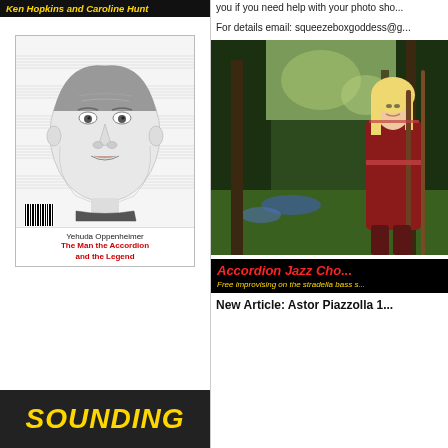Ken Hopkins and Caroline Hunt
[Figure (illustration): Book cover for 'Yehuda Oppenheimer: The Man the Accordion and the Legend' showing a pencil portrait of an elderly man over sheet music background]
[Figure (photo): Woman in costume holding a staff standing in a forest/garden setting]
For details email: squeezeboxgoddess@g...
Accordion Jazz Cho... Free improvising on the stradella bass s...
New Article: Astor Piazzolla 1...
SOUNDING